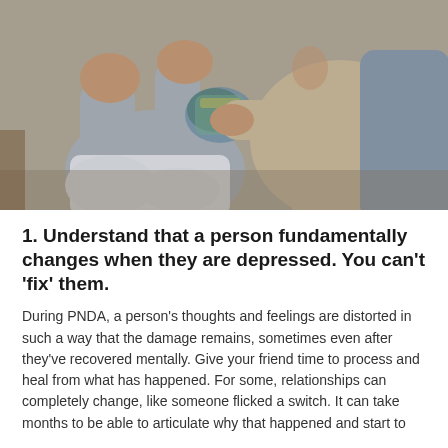[Figure (photo): Close-up photo of two people sitting together. One person wearing a light grey long-sleeve top has their hands covering their face in distress. Another person in a beige/cream long-sleeve top is reaching out and holding the distressed person's arm/hand in a supportive gesture. A third person in a grey hoodie is partially visible on the right. The scene conveys emotional support during a difficult time.]
1. Understand that a person fundamentally changes when they are depressed. You can't 'fix' them.
During PNDA, a person's thoughts and feelings are distorted in such a way that the damage remains, sometimes even after they've recovered mentally. Give your friend time to process and heal from what has happened. For some, relationships can completely change, like someone flicked a switch. It can take months to be able to articulate why that happened and start to